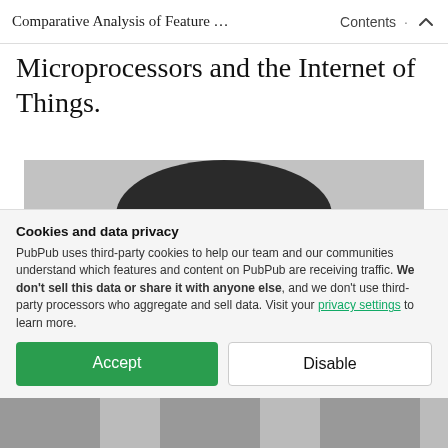Comparative Analysis of Feature … · Contents ↑
Microprocessors and the Internet of Things.
[Figure (photo): Black and white headshot photograph of a person, cropped at the chin, showing face and top of head.]
Cookies and data privacy
PubPub uses third-party cookies to help our team and our communities understand which features and content on PubPub are receiving traffic. We don't sell this data or share it with anyone else, and we don't use third-party processors who aggregate and sell data. Visit your privacy settings to learn more.